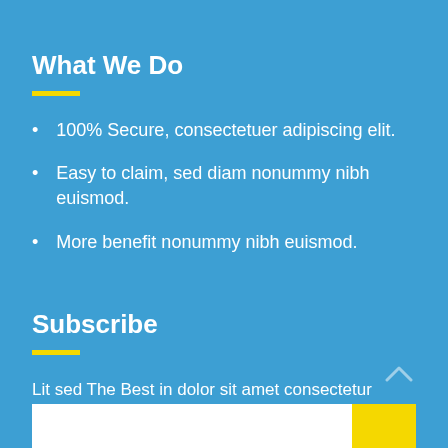What We Do
100% Secure, consectetuer adipiscing elit.
Easy to claim, sed diam nonummy nibh euismod.
More benefit nonummy nibh euismod.
Subscribe
Lit sed The Best in dolor sit amet consectetur adipisicing elit sedconsectetur adipisicing